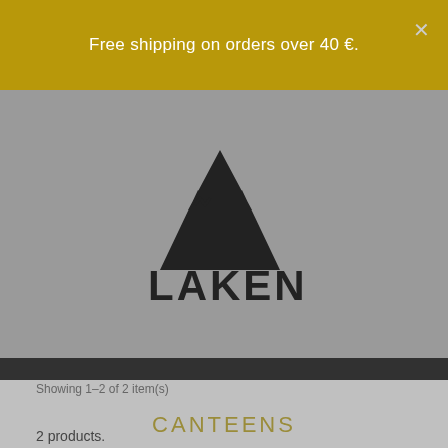Free shipping on orders over 40 €.
[Figure (logo): Laken brand logo: mountain silhouette with LAKEN text below]
This website uses its own and third-party cookies to improve our services and show you advertising related to your preferences by analyzing your browsing habits. To give your consent to its use, press the Accept button.
More information
Customize Cookies
Showing 1-2 of 2 item(s)
I ACCEPT
2 products.
CANTEENS